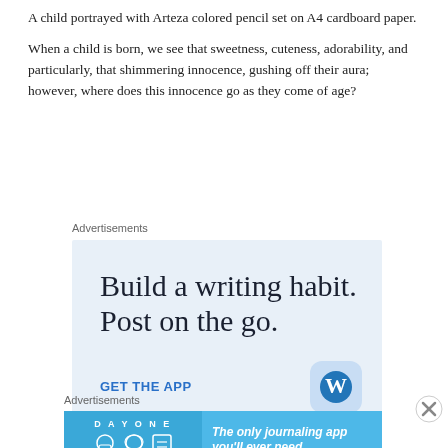A child portrayed with Arteza colored pencil set on A4 cardboard paper.
When a child is born, we see that sweetness, cuteness, adorability, and particularly, that shimmering innocence, gushing off their aura; however, where does this innocence go as they come of age?
Advertisements
[Figure (infographic): WordPress app advertisement: 'Build a writing habit. Post on the go.' with GET THE APP link and WordPress logo icon on light blue background]
Advertisements
[Figure (infographic): Day One journaling app advertisement: 'The only journaling app you'll ever need.' with app icons on blue background]